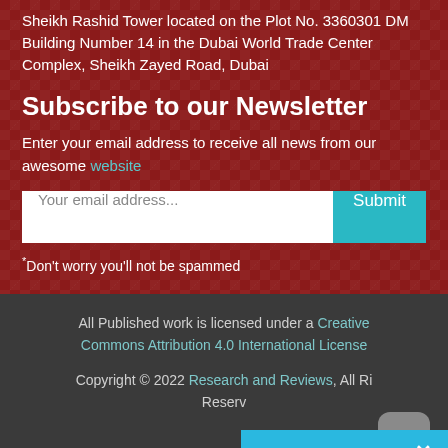Sheikh Rashid Tower located on the Plot No. 3360301 DM Building Number 14 in the Dubai World Trade Center Complex, Sheikh Zayed Road, Dubai
Subscribe to our Newsletter
Enter your email address to receive all news from our awesome website
*Don't worry you'll not be spammed
All Published work is licensed under a Creative Commons Attribution 4.0 International License
Copyright © 2022 Research and Reviews, All Rights Reserved